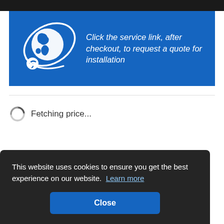[Figure (illustration): Blue banner with a white globe/satellite orbit icon on the left and italic white text on the right reading: Click the service link, after checkout, to request a quote for installation]
Fetching price...
This website uses cookies to ensure you get the best experience on our website. Learn more
Close